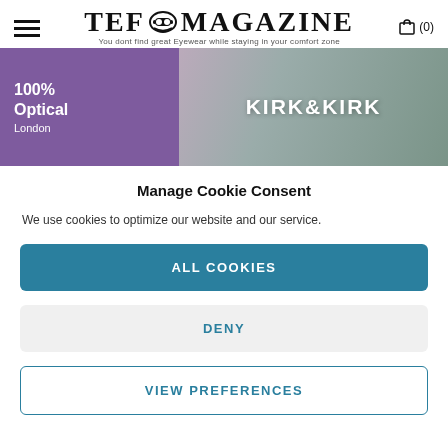TEF MAGAZINE — You dont find great Eyewear while staying in your comfort zone
[Figure (photo): Banner image with purple section showing '100% Optical London' and a photo of a blonde woman with 'KIRK&KIRK' text overlay]
Manage Cookie Consent
We use cookies to optimize our website and our service.
ALL COOKIES
DENY
VIEW PREFERENCES